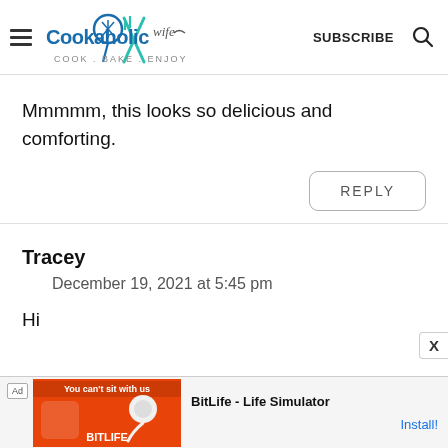Cookaholic Wife - COOK . BAKE . ENJOY | SUBSCRIBE
Mmmmm, this looks so delicious and comforting.
REPLY
Tracey
December 19, 2021 at 5:45 pm
Hi
[Figure (screenshot): Ad banner: BitLife - Life Simulator with Install! link]